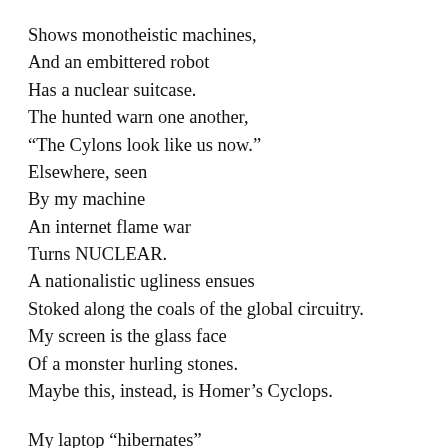Shows monotheistic machines,
And an embittered robot
Has a nuclear suitcase.
The hunted warn one another,
“The Cylons look like us now.”
Elsewhere, seen
By my machine
An internet flame war
Turns NUCLEAR.
A nationalistic ugliness ensues
Stoked along the coals of the global circuitry.
My screen is the glass face
Of a monster hurling stones.
Maybe this, instead, is Homer’s Cyclops.

My laptop “hibernates”
When left alone too long
Once I imagined it dreaming
Of a better owner.